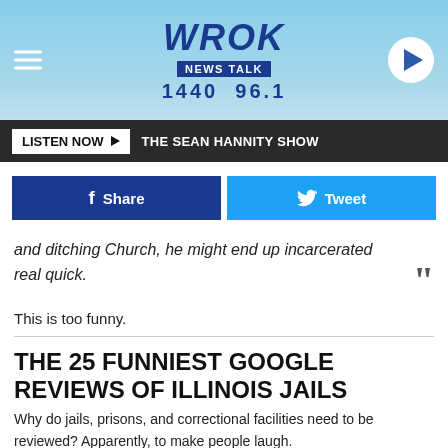[Figure (screenshot): WROK News Talk 1440 96.1 radio station header with blue background, hamburger menu, logo, and play button]
WROK NEWS TALK 1440 96.1
LISTEN NOW ▶  THE SEAN HANNITY SHOW
f Share    Tweet
and ditching Church, he might end up incarcerated real quick.
This is too funny.
THE 25 FUNNIEST GOOGLE REVIEWS OF ILLINOIS JAILS
Why do jails, prisons, and correctional facilities need to be reviewed? Apparently, to make people laugh.